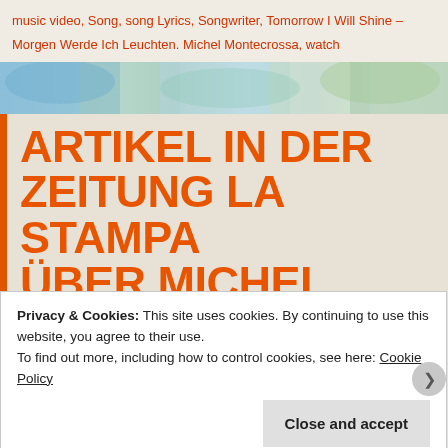music video, Song, song Lyrics, Songwriter, Tomorrow I Will Shine – Morgen Werde Ich Leuchten. Michel Montecrossa, watch
[Figure (illustration): Colorful abstract banner with blue, teal, and light pastel watercolor-style illustration]
ARTIKEL IN DER ZEITUNG LA STAMPA ÜBER MICHEL MONTECROSSA'S
Privacy & Cookies: This site uses cookies. By continuing to use this website, you agree to their use. To find out more, including how to control cookies, see here: Cookie Policy
Close and accept